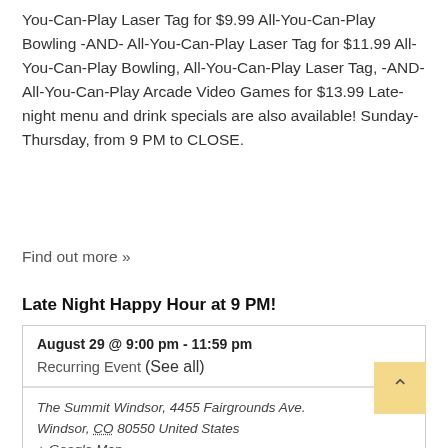You-Can-Play Laser Tag for $9.99 All-You-Can-Play Bowling -AND- All-You-Can-Play Laser Tag for $11.99 All-You-Can-Play Bowling, All-You-Can-Play Laser Tag, -AND- All-You-Can-Play Arcade Video Games for $13.99 Late-night menu and drink specials are also available! Sunday-Thursday, from 9 PM to CLOSE.
Find out more »
Late Night Happy Hour at 9 PM!
| August 29 @ 9:00 pm - 11:59 pm |
| Recurring Event (See all) |
| The Summit Windsor, 4455 Fairgrounds Ave. Windsor, CO 80550 United States
+ Google Map |